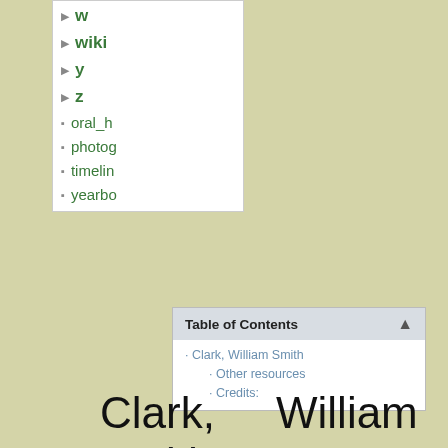w
wiki
y
z
oral_h
photog
timelin
yearbo
| Table of Contents |
| --- |
| · Clark, William Smith |
| · Other resources |
| · Credits: |
Clark, William Smith
President, Massachusetts Agricultural College, 1867-1879